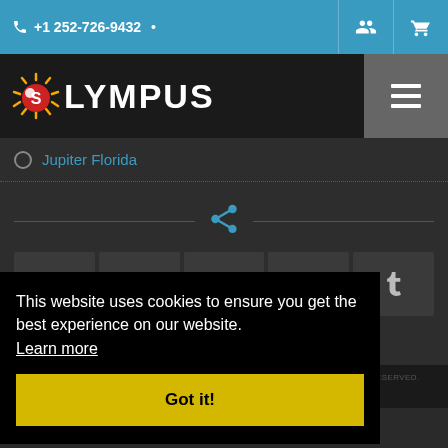+1 252-726-9432
[Figure (logo): Olympus Dive Center logo with sun icon and text OLYMPUS]
Jupiter Florida
[Figure (infographic): Share icon (curved arrow) with horizontal lines on either side, followed by social media icons: Facebook, Twitter, Pinterest, LinkedIn, Tumblr]
This website uses cookies to ensure you get the best experience on our website.
Learn more
Got it!
COPYRIGHT © 2022 | CMS VERSION 4.9 INTEGRATED SCUBA SYSTEMS. ALL RIGHTS RESERVED.
BACK TO TOP